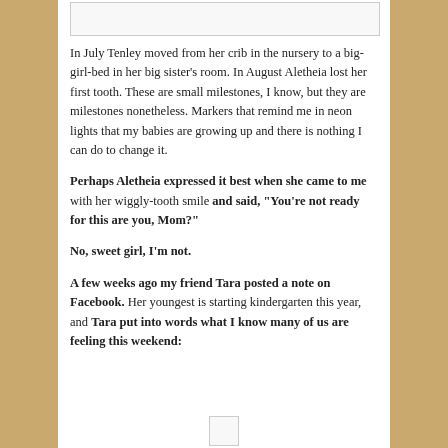[Figure (other): Image placeholder box at top of content area]
In July Tenley moved from her crib in the nursery to a big-girl-bed in her big sister's room. In August Aletheia lost her first tooth. These are small milestones, I know, but they are milestones nonetheless. Markers that remind me in neon lights that my babies are growing up and there is nothing I can do to change it.
Perhaps Aletheia expressed it best when she came to me with her wiggly-tooth smile and said, "You're not ready for this are you, Mom?"
No, sweet girl, I'm not.
A few weeks ago my friend Tara posted a note on Facebook. Her youngest is starting kindergarten this year, and Tara put into words what I know many of us are feeling this weekend:
[Figure (other): Small image placeholder box at bottom of content area]